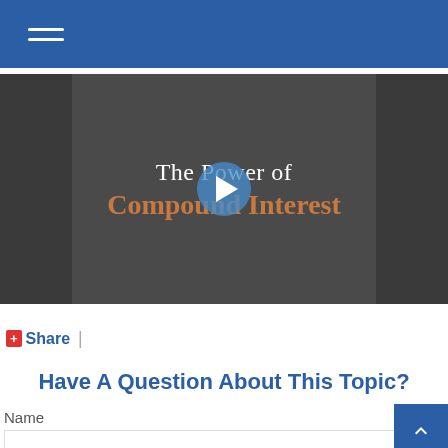Navigation bar with hamburger menu
[Figure (screenshot): Video thumbnail showing 'The Power of Compound Interest' with a play button overlay. Dark background with white serif text 'The Power of' and orange bold text 'Compound Interest'.]
Share |
Have A Question About This Topic?
Name